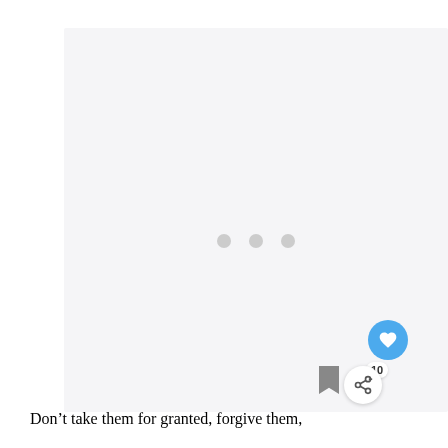[Figure (other): A light gray placeholder image area with three small gray dots centered vertically, indicating a loading or empty image state. A blue circular heart/favorite button is visible at the bottom right, along with a count badge showing '10', a gray bookmark icon, and a white circular share button.]
Don’t take them for granted, forgive them,